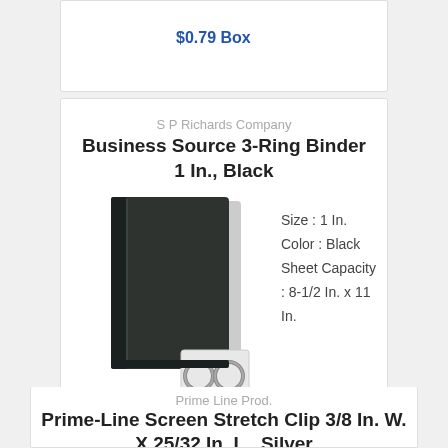$0.79 Box
S P Richards Company
Business Source 3-Ring Binder 1 In., Black
[Figure (photo): Black 3-ring binder product photo with ring hardware detail inset]
Size : 1 In.
Color : Black
Sheet Capacity : 8-1/2 In. x 11 In.
$2.48 Each
Prime Line Prod.
Prime-Line Screen Stretch Clip 3/8 In. W. X 25/32 In. L., Silver